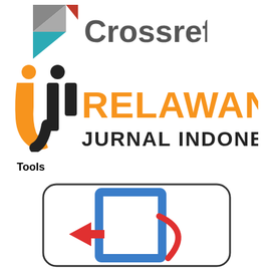[Figure (logo): Crossref logo with geometric triangular icon and 'Crossref' text in grey]
[Figure (logo): Relawan Jurnal Indonesia logo with orange and black stylized 'rji' letterform and RELAWAN JURNAL INDONESIA text]
Tools
[Figure (logo): Tool logo with blue square bracket shape, red arrow pointing left, and red curved arc on white background with rounded rectangle border]